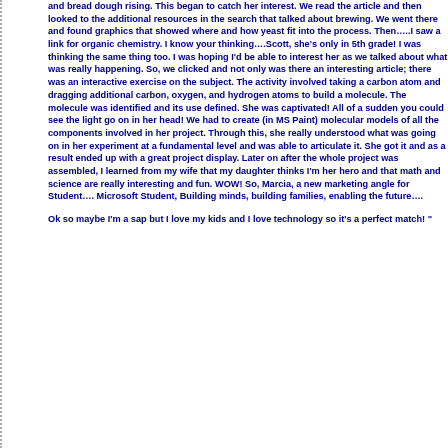and bread dough rising. This began to catch her interest. We read the article and then looked to the additional resources in the search that talked about brewing. We went there and found graphics that showed where and how yeast fit into the process. Then…..I saw a link for organic chemistry. I know your thinking….Scott, she's only in 5th grade! I was thinking the same thing too. I was hoping I'd be able to interest her as we talked about what was really happening. So, we clicked and not only was there an interesting article; there was an interactive exercise on the subject. The activity involved taking a carbon atom and dragging additional carbon, oxygen, and hydrogen atoms to build a molecule. The molecule was identified and its use defined. She was captivated! All of a sudden you could see the light go on in her head! We had to create (in MS Paint) molecular models of all the components involved in her project. Through this, she really understood what was going on in her experiment at a fundamental level and was able to articulate it. She got it and as a result ended up with a great project display. Later on after the whole project was assembled, I learned from my wife that my daughter thinks I'm her hero and that math and science are really interesting and fun. WOW! So, Marcia, a new marketing angle for Student…. Microsoft Student, Building minds, building families, enabling the future….
Ok so maybe I'm a sap but I love my kids and I love technology so it's a perfect match! "